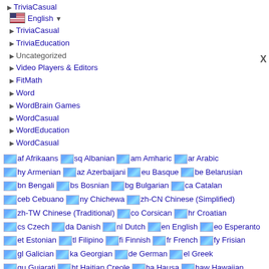TriviaCasual
English (US flag)
TriviaCasual
TriviaEducation
Uncategorized
Video Players & Editors
FitMath
Word
WordBrain Games
WordCasual
WordEducation
WordCasual
af Afrikaans sq Albanian am Amharic ar Arabic hy Armenian az Azerbaijani eu Basque be Belarusian bn Bengali bs Bosnian bg Bulgarian ca Catalan ceb Cebuano ny Chichewa zh-CN Chinese (Simplified) zh-TW Chinese (Traditional) co Corsican hr Croatian cs Czech da Danish nl Dutch en English eo Esperanto et Estonian tl Filipino fi Finnish fr French fy Frisian gl Galician ka Georgian de German el Greek gu Gujarati ht Haitian Creole ha Hausa haw Hawaiian iw Hebrew hi Hindi hmn Hmong hu Hungarian is Icelandic ig Igbo id Indonesian ga Irish it Italian ja Japanese jw Javanese kn Kannada kk Kazakh km Khmer ko Korean ku Kurdish (Kurmanji) ky Kyrgyz lo Lao la Latin lv Latvian lt Lithuanian lb Luxembourgish mk Macedonian mg Malagasy ms Malay ml Malayalam mt Maltese mi Maori mr Marathi mn Mongolian my Myanmar (Burmese) ne Nepali no Norwegian ps Pashto fa Persian pl Polish pt Portuguese pa Punjabi ro Romanian ru Russian sm Samoan gd Scottish Gaelic sr Serbian st Sesotho sn Shona sd Sindhi si Sinhala sk Slovak sl Slovenian so Somali es Spanish su Sudanese sw Swahili sv Swedish tg Tajik ta Tamil te Telugu th Thai tr Turkish